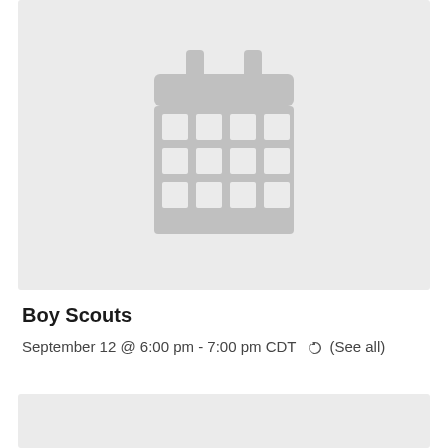[Figure (illustration): Gray calendar icon on a light gray background placeholder image]
Boy Scouts
September 12 @ 6:00 pm - 7:00 pm CDT  ↺ (See all)
[Figure (other): Light gray placeholder box at the bottom of the page]